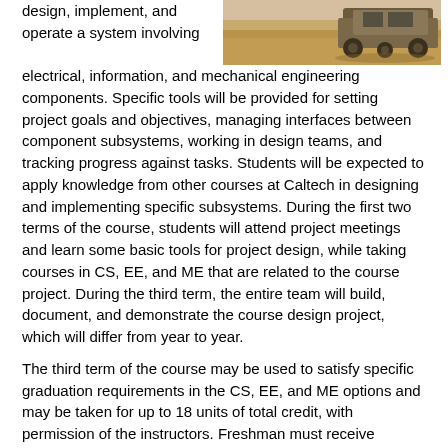design, implement, and operate a system involving electrical, information, and mechanical engineering components. Specific tools will be provided for setting project goals and objectives, managing interfaces between component subsystems, working in design teams, and tracking progress against tasks. Students will be expected to apply knowledge from other courses at Caltech in designing and implementing specific subsystems. During the first two terms of the course, students will attend project meetings and learn some basic tools for project design, while taking courses in CS, EE, and ME that are related to the course project. During the third term, the entire team will build, document, and demonstrate the course design project, which will differ from year to year.
[Figure (photo): Photograph of a vehicle or rover in a desert/sandy environment, partially visible at the top right of the page.]
The third term of the course may be used to satisfy specific graduation requirements in the CS, EE, and ME options and may be taken for up to 18 units of total credit, with permission of the instructors. Freshman must receive permission from the instructor to enroll.
Course structure
CS/EE/ME 75 is designed to be integrated with the curriculum in the individual engineering disciplines. This is accomplished by linking the activities in the first two terms with regular classes in CS, EE and ME. These courses are used to design subsystems for the overall project, with the system integration occuring in the third term and the final